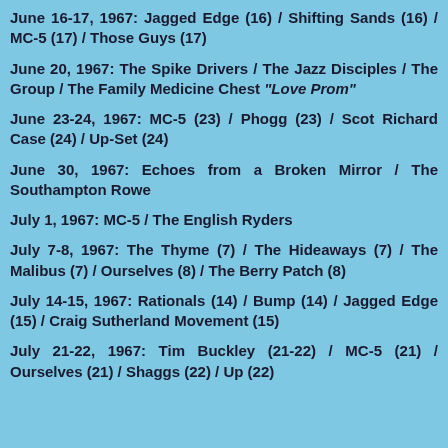June 16-17, 1967: Jagged Edge (16) / Shifting Sands (16) / MC-5 (17) / Those Guys (17)
June 20, 1967: The Spike Drivers / The Jazz Disciples / The Group / The Family Medicine Chest "Love Prom"
June 23-24, 1967: MC-5 (23) / Phogg (23) / Scot Richard Case (24) / Up-Set (24)
June 30, 1967: Echoes from a Broken Mirror / The Southampton Rowe
July 1, 1967: MC-5 / The English Ryders
July 7-8, 1967: The Thyme (7) / The Hideaways (7) / The Malibus (7) / Ourselves (8) / The Berry Patch (8)
July 14-15, 1967: Rationals (14) / Bump (14) / Jagged Edge (15) / Craig Sutherland Movement (15)
July 21-22, 1967: Tim Buckley (21-22) / MC-5 (21) / Ourselves (21) / Shaggs (22) / Up (22)